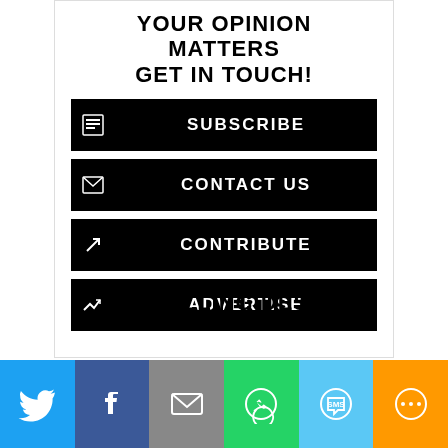YOUR OPINION MATTERS GET IN TOUCH!
SUBSCRIBE
CONTACT US
CONTRIBUTE
ADVERTISE
TOP SELLING DESIGN
[Figure (infographic): Social share bar with Twitter, Facebook, Email, WhatsApp, SMS, and More buttons]